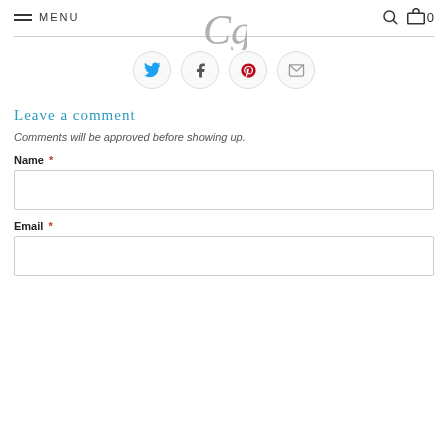MENU | Cg logo | search icon | cart 0
[Figure (infographic): Social sharing buttons: Twitter (blue bird), Facebook (f), Pinterest (red p), Email (envelope) — each in a circular outline button]
Leave a comment
Comments will be approved before showing up.
Name *
Email *